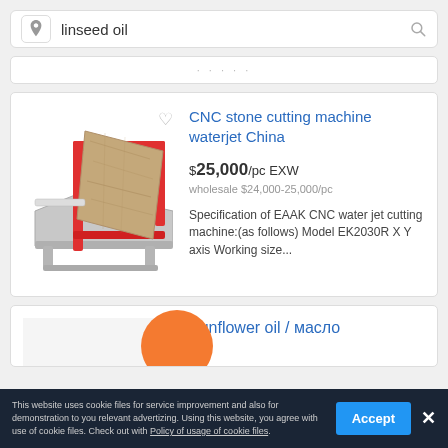[Figure (screenshot): Search bar with location pin icon and search icon, containing the text 'linseed oil']
[Figure (screenshot): Partial product card cut off at top, showing dots indicating scrolled content]
CNC stone cutting machine waterjet China
$25,000/pc EXW
wholesale $24,000-25,000/pc
Specification of EAAK CNC water jet cutting machine:(as follows) Model EK2030R X Y axis Working size...
Sunflower oil / масло
This website uses cookie files for service improvement and also for demonstration to you relevant advertizing. Using this website, you agree with use of cookie files. Check out with Policy of usage of cookie files.